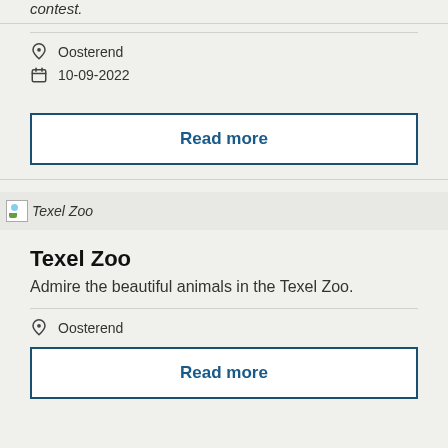contest.
Oosterend
10-09-2022
Read more
[Figure (photo): Texel Zoo thumbnail image placeholder]
Texel Zoo
Admire the beautiful animals in the Texel Zoo.
Oosterend
Read more